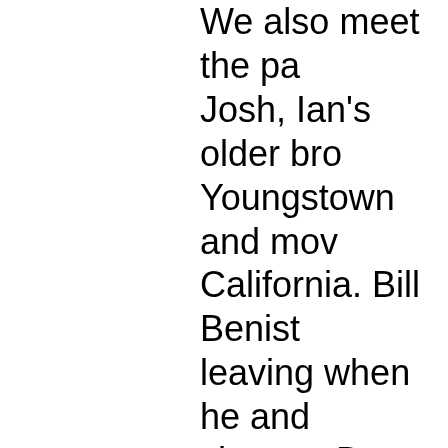We also meet the parents Josh, Ian's older brother, Youngstown and moved to California. Bill Benisto leaving when he and chance. But they repr generation. What I find especially documentary is how v the primary participan of devoted people wh Youngstown and are recovery are inspirati watching THE PLACE is remarkable when l and the press in front refurbished home --- the huge challenge a And as director Murth "We don't have to mo away. We can all star